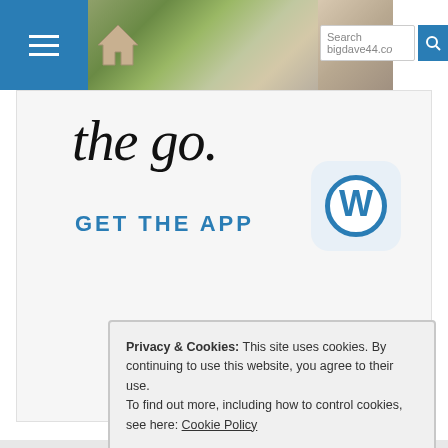Search bigdave44.co
[Figure (screenshot): WordPress 'Get the App' advertisement banner with WordPress logo and text 'the go.' and 'GET THE APP']
REPORT THIS AD
Posted on October 31, 2014 ❋ Posted in Crosswords, Osmosis, Toughie Crosswords ❋ Tagged 1285, Answers, Crossword, Daily Telegraph, Solutions, Telegraph ❋
Privacy & Cookies: This site uses cookies. By continuing to use this website, you agree to their use.
To find out more, including how to control cookies, see here: Cookie Policy
Close and accept
12 c
1
October 31, 2014 at 3:06 pm
I enjoyed this one and being a pangram helped me in the NE